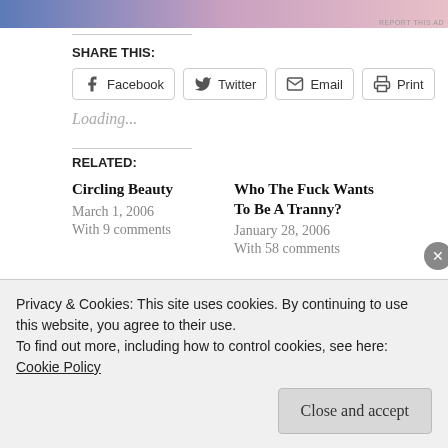[Figure (illustration): Ad banner with blue to pink gradient]
SHARE THIS:
Facebook  Twitter  Email  Print
Loading...
RELATED:
Circling Beauty
March 1, 2006
With 9 comments
Who The Fuck Wants To Be A Tranny?
January 28, 2006
With 58 comments
Privacy & Cookies: This site uses cookies. By continuing to use this website, you agree to their use.
To find out more, including how to control cookies, see here: Cookie Policy
Close and accept